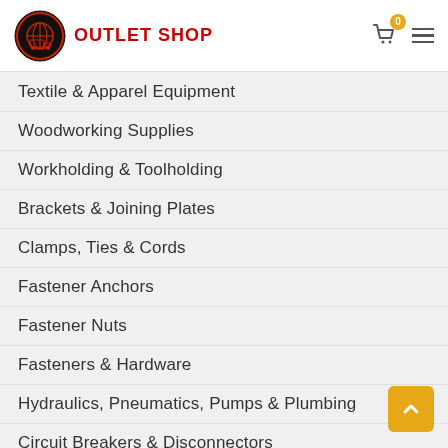OUTLET SHOP
Textile & Apparel Equipment
Woodworking Supplies
Workholding & Toolholding
Brackets & Joining Plates
Clamps, Ties & Cords
Fastener Anchors
Fastener Nuts
Fasteners & Hardware
Hydraulics, Pneumatics, Pumps & Plumbing
Circuit Breakers & Disconnectors
Contactors
Electrical Boxes, Panels & Boards
Electrical Plugs, Outlets & Covers